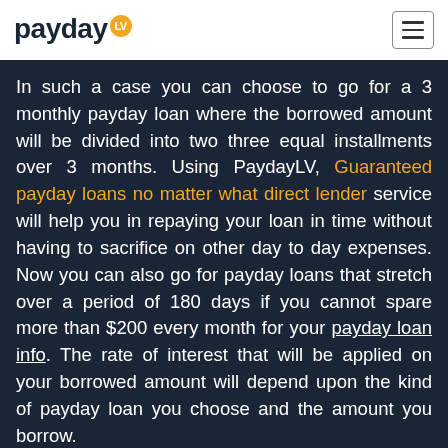payday LV
In such a case you can choose to go for a 3 monthly payday loan where the borrowed amount will be divided into two three equal installments over 3 months. Using PaydayLV, Guaranteed payday loans no matter what direct lender service will help you in repaying your loan in time without having to sacrifice on other day to day expenses. Now you can also go for payday loans that stretch over a period of 180 days if you cannot spare more than $200 every month for your payday loan info. The rate of interest that will be applied on your borrowed amount will depend upon the kind of payday loan you choose and the amount you borrow.